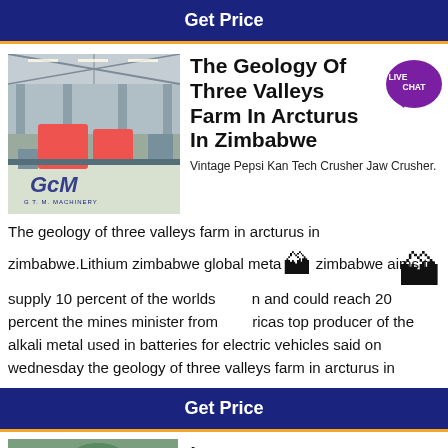Get Price
[Figure (photo): Industrial/mining machinery facility interior, GCM Machinery watermark]
The Geology Of Three Valleys Farm In Arcturus In Zimbabwe
Vintage Pepsi Kan Tech Crusher Jaw Crusher. The geology of three valleys farm in arcturus in zimbabwe.Lithium zimbabwe global metal zimbabwe aims to supply 10 percent of the worlds and could reach 20 percent the mines minister from africas top producer of the alkali metal used in batteries for electric vehicles said on wednesday the geology of three valleys farm in arcturus in
Get Price